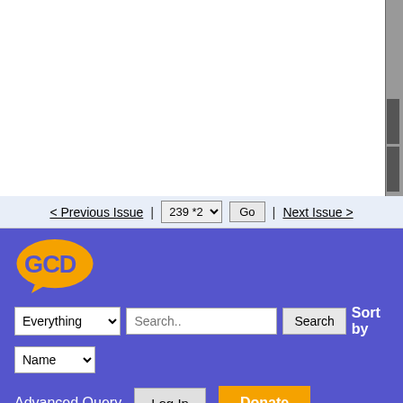[Figure (screenshot): White area at top of page, partial sidebar on right]
< Previous Issue | 239 *2 ▾  Go | Next Issue >
[Figure (logo): GCD logo - orange speech bubble with GCD letters on purple background]
Everything ▾  Search..  Search  Sort by
Name ▾
Advanced Query  Log In  Donate
If you believe any of this data to be incorrect, please let us know 🔗.
Cover thumbnails are used for identification purposes only. All rights to cover images reserved by the respective copyright holders.
[Figure (logo): Creative Commons BY SA license badge]
All portions of the Grand Comics Database™, except where noted otherwise, are copyrighted by the GCD and are licensed under a Creative Commons